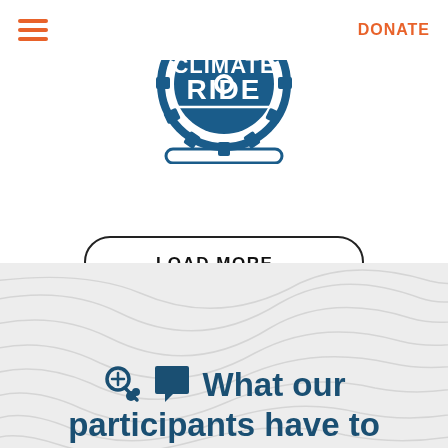DONATE
[Figure (logo): Climate Ride logo: gear/cog circle with 'CLIMATE RIDE' text in blue]
LOAD MORE...
FOLLOW ON INSTAGRAM
What our participants have to